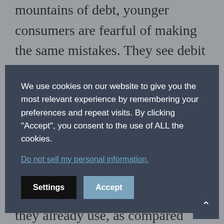mountains of debt, younger consumers are fearful of making the same mistakes. They see debit cards as a convenient way to manage spending without
We use cookies on our website to give you the most relevant experience by remembering your preferences and repeat visits. By clicking “Accept”, you consent to the use of ALL the cookies.
Do not sell my personal information.
Settings
Accept
are open to trying new products and services from a fintech firm they already use, as compared with 60 percent across all age groups in the US.